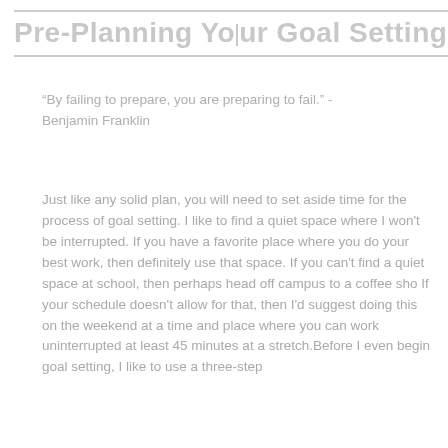Pre-Planning Your Goal Setting
“By failing to prepare, you are preparing to fail.” - Benjamin Franklin
Just like any solid plan, you will need to set aside time for the process of goal setting. I like to find a quiet space where I won't be interrupted. If you have a favorite place where you do your best work, then definitely use that space. If you can't find a quiet space at school, then perhaps head off campus to a coffee sho If your schedule doesn't allow for that, then I'd suggest doing this on the weekend at a time and place where you can work uninterrupted at least 45 minutes at a stretch. Before I even begin goal setting, I like to use a three-step